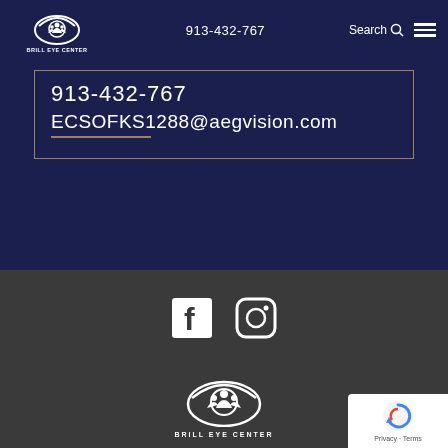[Figure (logo): Brill Eye Center logo — circular eye/people icon in white with text BRILL EYE CENTER below]
913-432-767
Search
913-432-767
ECSOFKS1288@aegvision.com
[Figure (logo): Facebook and Instagram social media icons in white]
[Figure (logo): Brill Eye Center logo in white (footer version)]
BRILL EYE CENTER
[Figure (other): reCAPTCHA badge with Privacy and Terms links]